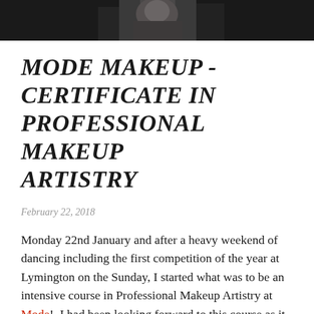[Figure (photo): Black and white photograph banner showing a person, partially cropped at top of page]
MODE MAKEUP - CERTIFICATE IN PROFESSIONAL MAKEUP ARTISTRY
February 22, 2018
Monday 22nd January and after a heavy weekend of dancing including the first competition of the year at Lymington on the Sunday, I started what was to be an intensive course in Professional Makeup Artistry at Mode!  I had been looking forward to this course as it is the main course that I was interested in when I was researching the best routes to take in training.  Having